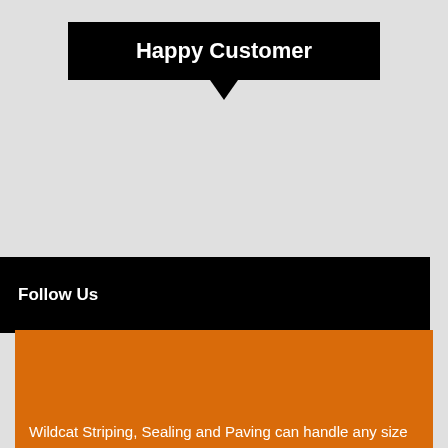Happy Customer
Follow Us
Wildcat Striping, Sealing and Paving can handle any size